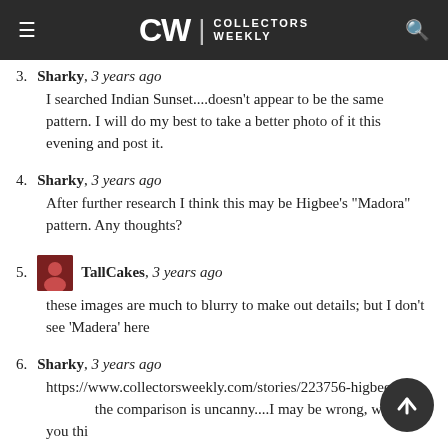CW | COLLECTORS WEEKLY
3. Sharky, 3 years ago — I searched Indian Sunset....doesn't appear to be the same pattern. I will do my best to take a better photo of it this evening and post it.
4. Sharky, 3 years ago — After further research I think this may be Higbee's "Madora" pattern. Any thoughts?
5. TallCakes, 3 years ago — these images are much to blurry to make out details; but I don't see 'Madera' here
6. Sharky, 3 years ago — https://www.collectorsweekly.com/stories/223756-higbee-...the comparison is uncanny....I may be wrong, what do you thi...
7. TallCakes, 3 years ago